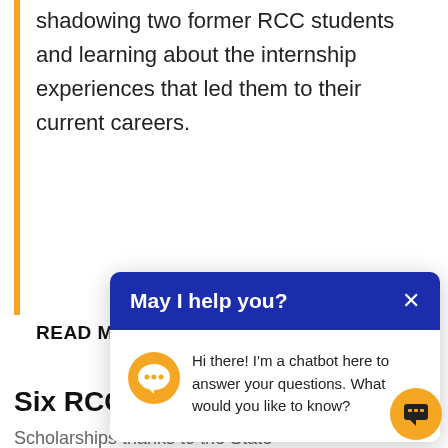shadowing two former RCC students and learning about the internship experiences that led them to their current careers.
READ MORE
Six RCC students earn SECU
[Figure (screenshot): Chatbot popup with blue header 'May I help you?' and close X button. Body shows orange chat icon and message: Hi there! I'm a chatbot here to answer your questions. What would you like to know?]
Scholarships thanks to the State